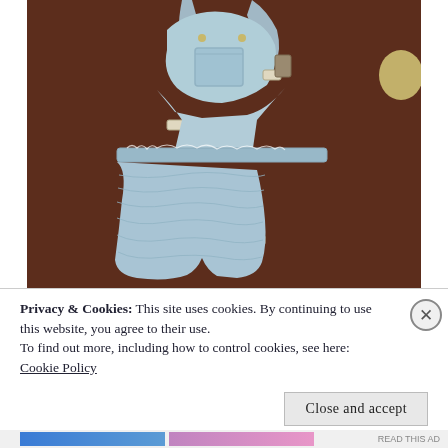[Figure (photo): A pair of light blue denim overalls laid flat on a dark brown/maroon background. The overalls have straps, a bib pocket, and a ruffled/gathered skirt portion at the bottom. The garment appears worn or distressed.]
Privacy & Cookies: This site uses cookies. By continuing to use this website, you agree to their use.
To find out more, including how to control cookies, see here:
Cookie Policy
Close and accept